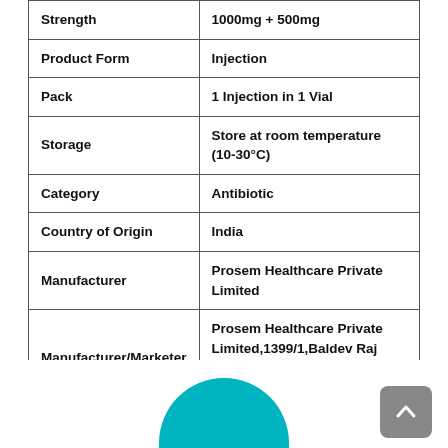| Field | Value |
| --- | --- |
| Strength | 1000mg + 500mg |
| Product Form | Injection |
| Pack | 1 Injection in 1 Vial |
| Storage | Store at room temperature (10-30°C) |
| Category | Antibiotic |
| Country of Origin | India |
| Manufacturer | Prosem Healthcare Private Limited |
| Manufacturer/Marketer Address | Prosem Healthcare Private Limited,1399/1,Baldev Raj Sethi HUD, Shahabad, Kurukshetra, Haryana, 136135 India |
[Figure (illustration): Teal semicircle decorative element at bottom center, and a grey scroll-to-top button at bottom right.]